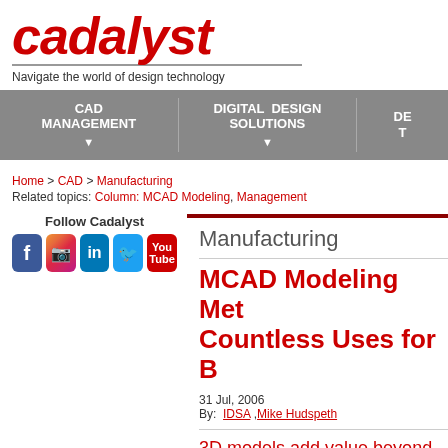cadalyst
Navigate the world of design technology
CAD MANAGEMENT | DIGITAL DESIGN SOLUTIONS | DE T
Home > CAD > Manufacturing
Related topics: Column: MCAD Modeling, Management
[Figure (screenshot): Follow Cadalyst social media icons: Facebook, Instagram, LinkedIn, Twitter, YouTube]
Manufacturing
MCAD Modeling Met... Countless Uses for B...
31 Jul, 2006
By: IDSA, Mike Hudspeth
3D models add value beyond...
You've spent hours honing your product desi... heap it competes on and catapult you to that... you've finished modeling, what do you do wit...